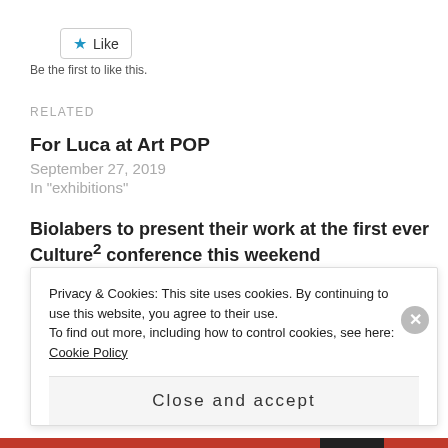[Figure (other): Like button with blue star icon and border]
Be the first to like this.
RELATED
For Luca at Art POP
September 27, 2019
In "exhibitions"
Biolabers to present their work at the first ever Culture² conference this weekend
August 27, 2021
In "conference presentations"
Privacy & Cookies: This site uses cookies. By continuing to use this website, you agree to their use.
To find out more, including how to control cookies, see here: Cookie Policy
Close and accept